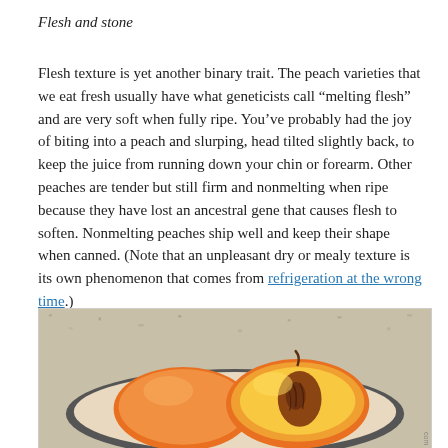Flesh and stone
Flesh texture is yet another binary trait. The peach varieties that we eat fresh usually have what geneticists call “melting flesh” and are very soft when fully ripe. You’ve probably had the joy of biting into a peach and slurping, head tilted slightly back, to keep the juice from running down your chin or forearm. Other peaches are tender but still firm and nonmelting when ripe because they have lost an ancestral gene that causes flesh to soften. Nonmelting peaches ship well and keep their shape when canned. (Note that an unpleasant dry or mealy texture is its own phenomenon that comes from refrigeration at the wrong time.)
[Figure (photo): A photo of peach halves on a plate showing the stone/pit, placed on a granite countertop.]